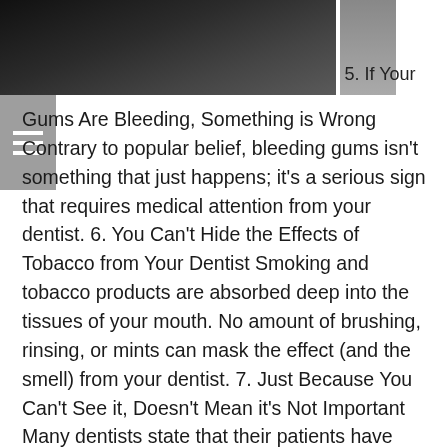[Figure (photo): Dark close-up photo of a hand or fingers against a dark background, occupying the top portion of the page]
5. If Your Gums Are Bleeding, Something is Wrong Contrary to popular belief, bleeding gums isn't something that just happens; it's a serious sign that requires medical attention from your dentist. 6. You Can't Hide the Effects of Tobacco from Your Dentist Smoking and tobacco products are absorbed deep into the tissues of your mouth. No amount of brushing, rinsing, or mints can mask the effect (and the smell) from your dentist. 7. Just Because You Can't See it, Doesn't Mean it's Not Important Many dentists state that their patients have periodontal disease in their back teeth, but not in their front teeth. It's important to clean your entire mouth when you brush, not just what you see. 8. Ideal Oral Hygiene Requires 10 Minutes of Brushing Per Day Most adults barely brush for two minutes, and children often brush for less time